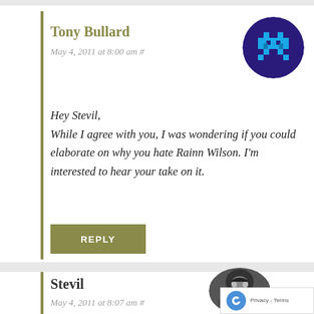Tony Bullard
May 4, 2011 at 8:00 am #
Hey Stevil,
While I agree with you, I was wondering if you could elaborate on why you hate Rainn Wilson. I'm interested to hear your take on it.
REPLY
Stevil
May 4, 2011 at 8:07 am #
Besides just generally being a